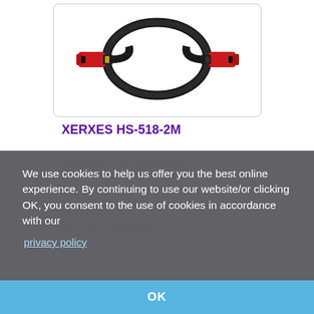[Figure (photo): HDMI cable with red metal connectors coiled in a loop, product photo on white background]
XERXES HS-518-2M
We use cookies to help us offer you the best online experience. By continuing to use our website/or clicking OK, you consent to the use of cookies in accordance with our
privacy policy
2m Metal Shell High Speed Premium HDMI cable
RRP: £4.59
Mfr Part #: XERX2HDMI
Our Part #: XERX2HDMI
OK